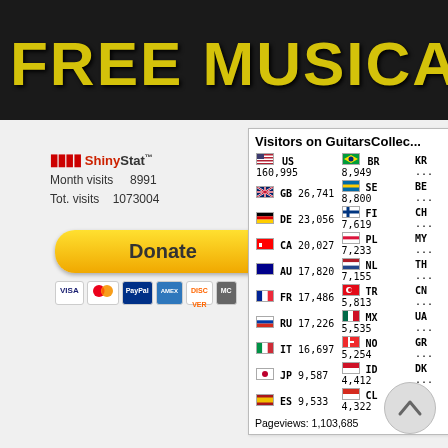[Figure (screenshot): Website header banner with dark/black background and grunge-style yellow text reading 'FREE MUSICAL INSTR' (truncated)]
[Figure (screenshot): ShinyStat visitor counter widget showing Month visits 8991 and Tot. visits 1073004]
[Figure (screenshot): PayPal Donate button with payment method icons (Visa, Mastercard, etc.)]
| Country | Visitors | Country | Visitors | Country | Visitors |
| --- | --- | --- | --- | --- | --- |
| US | 160,995 | BR | 8,949 | KR |  |
| GB | 26,741 | SE | 8,800 | BE |  |
| DE | 23,056 | FI | 7,619 | CH |  |
| CA | 20,027 | PL | 7,233 | MY |  |
| AU | 17,820 | NL | 7,155 | TH |  |
| FR | 17,486 | TR | 5,813 | CN |  |
| RU | 17,226 | MX | 5,535 | UA |  |
| IT | 16,697 | NO | 5,254 | GR |  |
| JP | 9,587 | ID | 4,412 | DK |  |
| ES | 9,533 | CL | 4,322 | AT |  |
Pageviews: 1,103,685